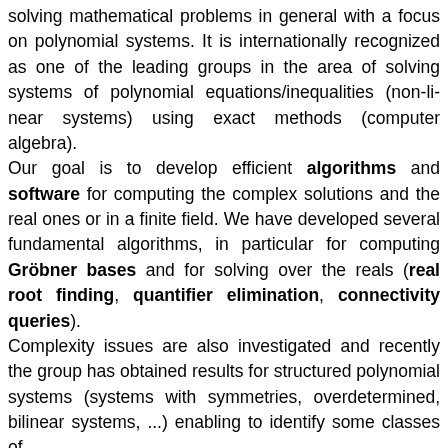solving mathematical problems in general with a focus on polynomial systems. It is internationally recognized as one of the leading groups in the area of solving systems of polynomial equations/inequalities (non-linear systems) using exact methods (computer algebra). Our goal is to develop efficient algorithms and software for computing the complex solutions and the real ones or in a finite field. We have developed several fundamental algorithms, in particular for computing Gröbner bases and for solving over the reals (real root finding, quantifier elimination, connectivity queries). Complexity issues are also investigated and recently the group has obtained results for structured polynomial systems (systems with symmetries, overdetermined, bilinear systems, ...) enabling to identify some classes of problems which can be solved in polynomial time.